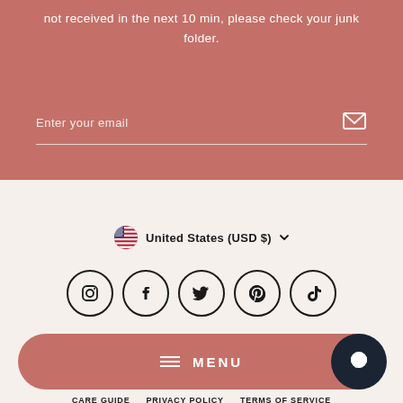not received in the next 10 min, please check your junk folder.
Enter your email
[Figure (infographic): Country selector showing US flag and 'United States (USD $)' with dropdown chevron]
[Figure (infographic): Social media icons: Instagram, Facebook, Twitter, Pinterest, TikTok in circular outlines]
MENU
CARE GUIDE  PRIVACY POLICY  TERMS OF SERVICE